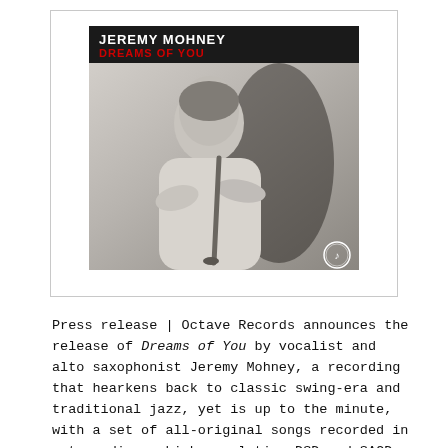[Figure (illustration): Album cover for 'Dreams of You' by Jeremy Mohney. Black header with artist name in white and album title in red. Below is a black and white photo of a man (Jeremy Mohney) sitting with arms crossed, holding a saxophone, leaning against a wall. A small circular logo appears in the bottom right corner.]
Press release | Octave Records announces the release of Dreams of You by vocalist and alto saxophonist Jeremy Mohney, a recording that hearkens back to classic swing-era and traditional jazz, yet is up to the minute, with a set of all-original songs recorded in extraordinary high-resolution DSD and SACD sound.